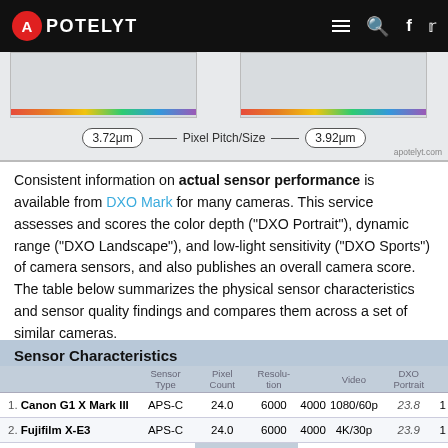APOTELYT
[Figure (other): Pixel pitch/size comparison banner showing 3.72μm and 3.92μm labels with a line between them labeled 'Pixel Pitch/Size', watermarked apotelyt.com]
Consistent information on actual sensor performance is available from DXO Mark for many cameras. This service assesses and scores the color depth ("DXO Portrait"), dynamic range ("DXO Landscape"), and low-light sensitivity ("DXO Sports") of camera sensors, and also publishes an overall camera score. The table below summarizes the physical sensor characteristics and sensor quality findings and compares them across a set of similar cameras.
|  | Sensor Type | Pixel Count | Resolution |  | Video | DXO Portrait |  |
| --- | --- | --- | --- | --- | --- | --- | --- |
| 1. Canon G1 X Mark III | APS-C | 24.0 | 6000 | 4000 | 1080/60p | 23.8 | 1 |
| 2. Fujifilm X-E3 | APS-C | 24.0 | 6000 | 4000 | 4K/30p | 23.9 | 1 |
| 3. Canon M50 | APS-… |  |  | 4000 | 4K/24p | 23.8 | 1 |